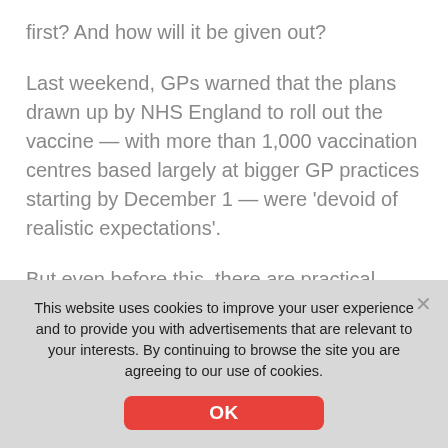first? And how will it be given out?
Last weekend, GPs warned that the plans drawn up by NHS England to roll out the vaccine — with more than 1,000 vaccination centres based largely at bigger GP practices starting by December 1 — were 'devoid of realistic expectations'.
But even before this, there are practical logistics in producing the vaccine itself. Given that the global adult population is approaching five billion — and all will need
This website uses cookies to improve your user experience and to provide you with advertisements that are relevant to your interests. By continuing to browse the site you are agreeing to our use of cookies.